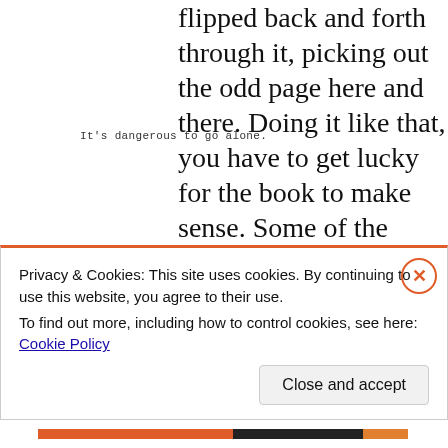It's dangerous to go alone.
flipped back and forth through it, picking out the odd page here and there. Doing it like that, you have to get lucky for the book to make sense. Some of the cards do not make much sense on their own, and a few of them (Potato
Privacy & Cookies: This site uses cookies. By continuing to use this website, you agree to their use.
To find out more, including how to control cookies, see here: Cookie Policy
Close and accept